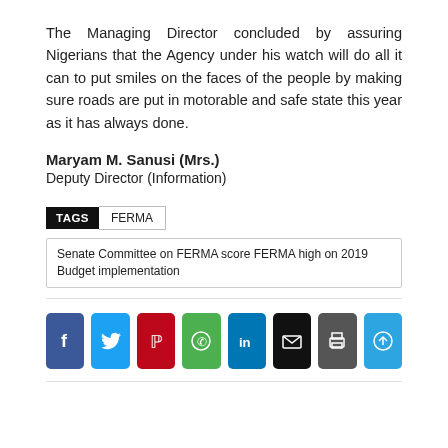The Managing Director concluded by assuring Nigerians that the Agency under his watch will do all it can to put smiles on the faces of the people by making sure roads are put in motorable and safe state this year as it has always done.
Maryam M. Sanusi (Mrs.)
Deputy Director (Information)
TAGS   FERMA
Senate Committee on FERMA score FERMA high on 2019 Budget implementation
[Figure (infographic): Row of 8 social sharing buttons: Facebook (blue), Twitter (light blue), Pinterest (red), WhatsApp (green), LinkedIn (dark blue), Email (black), Print (dark gray), Telegram (sky blue)]